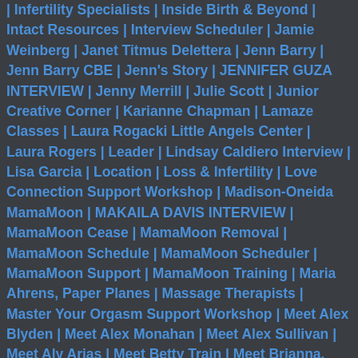| Infertility Specialists | Inside Birth & Beyond | Intact Resources | Interview Scheduler | Jamie Weinberg | Janet Titmus Delettera | Jenn Barry | Jenn Barry CBE | Jenn's Story | JENNIFER GUZA INTERVIEW | Jenny Merrill | Julie Scott | Junior Creative Corner | Karianne Chapman | Lamaze Classes | Laura Rogacki Little Angels Center | Laura Rogers | Leader | Lindsay Caldiero Interview | Lisa Garcia | Location | Loss & Infertility | Love Connection Support Workshop | Madison-Oneida MamaMoon | MAKAILA DAVIS INTERVIEW | MamaMoon Cease | MamaMoon Removal | MamaMoon Schedule | MamaMoon Scheduler | MamaMoon Support | MamaMoon Training | Maria Ahrens, Paper Planes | Massage Therapists | Master Your Orgasm Support Workshop | Meet Alex Blyden | Meet Alex Monahan | Meet Alex Sullivan | Meet Aly Arias | Meet Betty Train | Meet Brianna, Breezy Chiropractic | Meet Cassy Figliuolo | Meet Christina Harris | Meet Christina Monte Cervone | Meet Dra. T'Karima Ticitl | Meet Jacquelyn Sheehan | Meet Jacquelyn Sheehan | Meet Jenny Guza | Meet Jessica Sullivan | Meet Jonathan Kavner | Meet Laura Greco | Meet Lindsay Caldiero | Meet Lisa Garcia | Meet Lisa Garcia, NurseMama | Meet Lisa Taylor | Meet Marie Kaminski | Meet Marissa Sherov | Meet